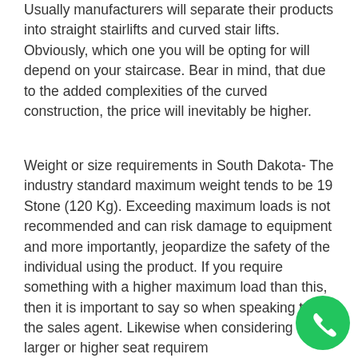Usually manufacturers will separate their products into straight stairlifts and curved stair lifts. Obviously, which one you will be opting for will depend on your staircase. Bear in mind, that due to the added complexities of the curved construction, the price will inevitably be higher.
Weight or size requirements in South Dakota- The industry standard maximum weight tends to be 19 Stone (120 Kg). Exceeding maximum loads is not recommended and can risk damage to equipment and more importantly, jeopardize the safety of the individual using the product. If you require something with a higher maximum load than this, then it is important to say so when speaking to the sales agent. Likewise when considering a larger or higher seat requirem...
[Figure (other): Green circular phone/call button icon in bottom-right corner]